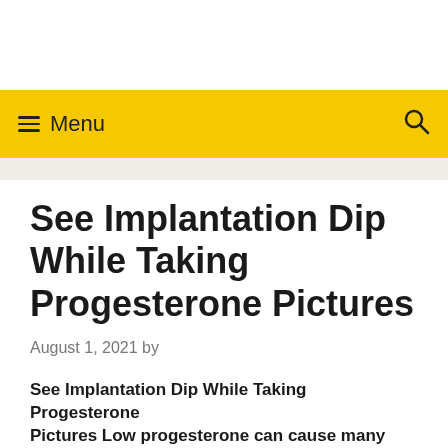Menu
See Implantation Dip While Taking Progesterone Pictures
August 1, 2021 by
See Implantation Dip While Taking Progesterone Pictures
Low progesterone can cause many